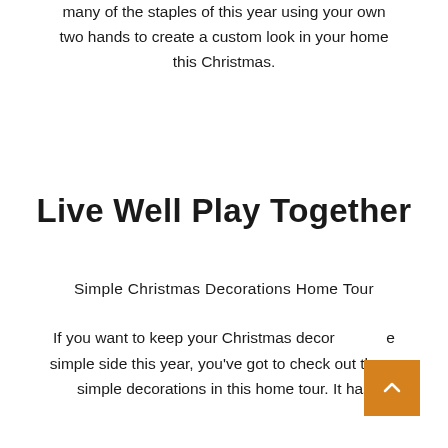many of the staples of this year using your own two hands to create a custom look in your home this Christmas.
Live Well Play Together
Simple Christmas Decorations Home Tour
If you want to keep your Christmas decor on the simple side this year, you've got to check out these simple decorations in this home tour. It has